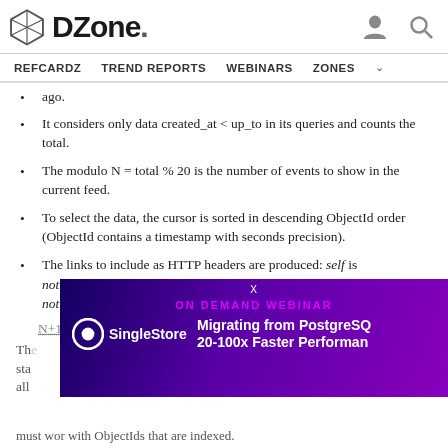DZone. [logo] [user icon] [search icon]
REFCARDZ   TREND REPORTS   WEBINARS   ZONES v
ago.
It considers only data created_at < up_to in its queries and counts the total.
The modulo N = total % 20 is the number of events to show in the current feed.
To select the data, the cursor is sorted in descending ObjectId order (ObjectId contains a timestamp with seconds precision).
The links to include as HTTP headers are produced: self is notifications/$LastDocumentIdOfN,20 while previous is notifications/-20,$nextDocumentId. To know $nextDocumentId, N+1 documents have to be selected.
The ... start ... all ... must wor with ObjectIds that are indexed.
[Figure (screenshot): Ad banner: ON DEMAND WEBINAR - SingleStore - Migrating from PostgreSQL 20-100x Faster Performance]